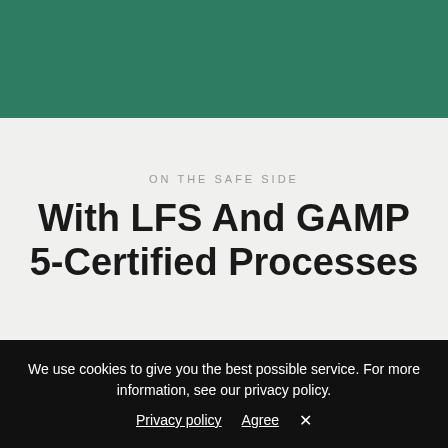ON THE SAFE SIDE
With LFS And GAMP 5-Certified Processes
We use cookies to give you the best possible service. For more information, see our privacy policy. Privacy policy   Agree   ×